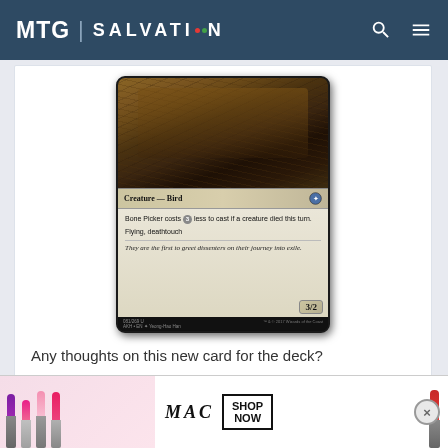MTG SALVATION
[Figure (photo): MTG card 'Bone Picker' — Creature Bird, 3/2, costs 3 less to cast if a creature died this turn. Flying, deathtouch. Flavor text: They are the first to greet dissenters on their journey into exile. AKH EN 081/269 U, art by Yeong-Hao Han, 2017 Wizards of the Coast.]
Any thoughts on this new card for the deck?
[Figure (photo): MAC cosmetics advertisement showing lipsticks in purple, pink, and red, with MAC logo and SHOP NOW call to action box.]